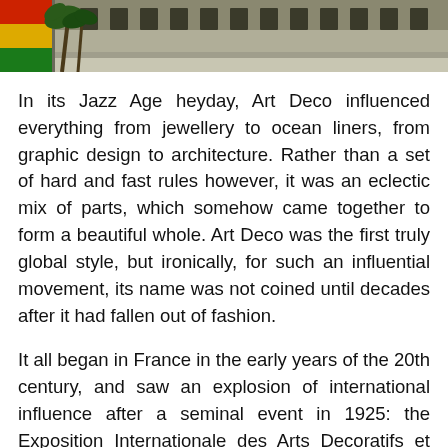[Figure (photo): Top portion of a photograph showing a building facade with palm trees and a flag (red, yellow, green) on the left side.]
In its Jazz Age heyday, Art Deco influenced everything from jewellery to ocean liners, from graphic design to architecture. Rather than a set of hard and fast rules however, it was an eclectic mix of parts, which somehow came together to form a beautiful whole. Art Deco was the first truly global style, but ironically, for such an influential movement, its name was not coined until decades after it had fallen out of fashion.
It all began in France in the early years of the 20th century, and saw an explosion of international influence after a seminal event in 1925: the Exposition Internationale des Arts Decoratifs et Industriels Modernes (International Exposition of Modern Decorative and Industrial Arts). In all, some 16 million people attended the exposition, a sign of how heavily the